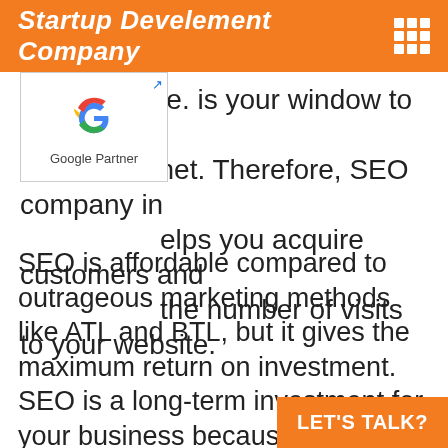Startup Develement Company
clients online. is your window to the online world. Internet. Therefore, SEO company in helps you acquire customers and the number of visits to your website.
[Figure (logo): Google Partner badge with the Google 'G' logo in multicolor and the text 'Google Partner' below it, inside a white bordered box with an external link icon in the top right corner.]
SEO is affordable compared to outrageous marketing methods like ATL and BTL, but it gives the maximum return on investment. SEO is a long-term investment for your business because the efforts you put in each month will help you reap huge benefits in the months to come. We helping you! because we are a best SEO company in India for rank #1 your keyword on search eng
LET'S TALK?